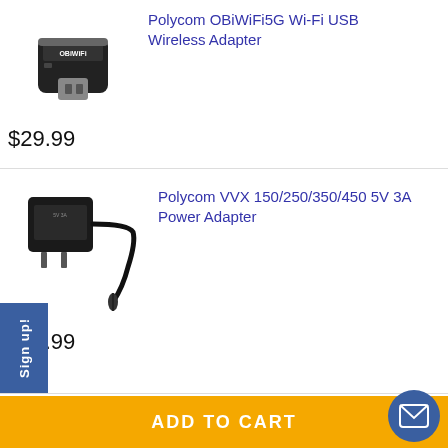[Figure (photo): OBiWiFi USB wireless adapter dongle, black]
Polycom OBiWiFi5G Wi-Fi USB Wireless Adapter
$29.99
[Figure (photo): Black power adapter with cable and plug]
Polycom VVX 150/250/350/450 5V 3A Power Adapter
$14.99
$19.00
Polycom Nameplate for VVX 400
Sign up!
ADD TO CART